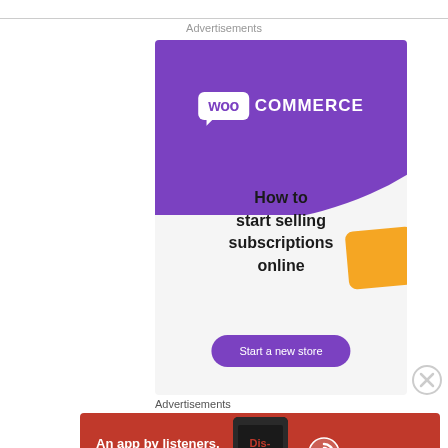Advertisements
[Figure (illustration): WooCommerce advertisement banner with purple header, WooCommerce logo, orange decorative shape, headline 'How to start selling subscriptions online', and 'Start a new store' button]
Advertisements
[Figure (illustration): Pocket Casts advertisement banner on red background with text 'An app by listeners, for listeners.' and Pocket Casts logo]